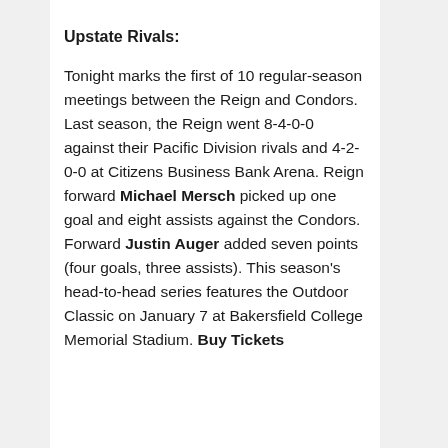Upstate Rivals:
Tonight marks the first of 10 regular-season meetings between the Reign and Condors. Last season, the Reign went 8-4-0-0 against their Pacific Division rivals and 4-2-0-0 at Citizens Business Bank Arena. Reign forward Michael Mersch picked up one goal and eight assists against the Condors. Forward Justin Auger added seven points (four goals, three assists). This season's head-to-head series features the Outdoor Classic on January 7 at Bakersfield College Memorial Stadium. Buy Tickets